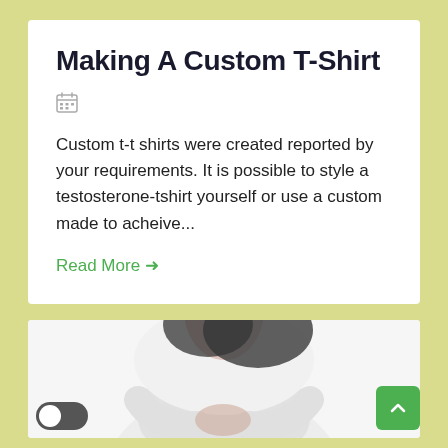Making A Custom T-Shirt
[Figure (illustration): Calendar icon in gray]
Custom t-t shirts were created reported by your requirements. It is possible to style a testosterone-tshirt yourself or use a custom made to acheive...
Read More →
[Figure (photo): A person with dark hair wearing a white long-sleeve shirt with arms crossed, lower body in dark skirt, blurred/low-resolution photo]
[Figure (illustration): Toggle switch UI element in off/dark position]
[Figure (illustration): Green back-to-top button with upward chevron arrow]